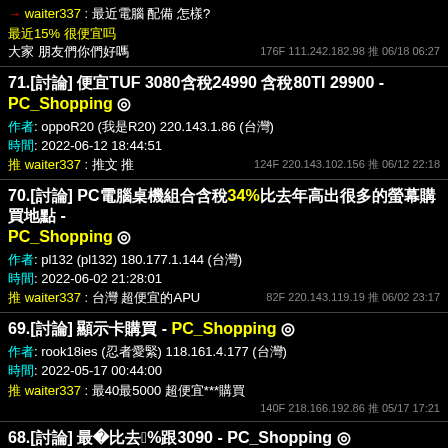→ waiter337 : 最近電腦 配備 怎樣? 最近15% 很便宜吗 大家 朋友们你们好嗎 176F 111.242.182.98 推 06/18 06:27
71.[討論] 便宜TUF 3080含稅24990 含稅80TI 29900 - PC_Shopping ◎ 作者: oppoR20 (oppoR20) 220.143.1.86 (台灣) 時間: 2022-06-12 18:44:51 推 waiter337 : 推文 推 124F 220.143.102.156 推 06/12 22:18
70.[討論] PC電腦桌機組合含稅34%比去年高出很多的螢幕購買地點 - PC_Shopping ◎ 作者: pl132 (pl132) 180.177.1.144 (台灣) 時間: 2022-06-02 21:28:01 推 waiter337 : 台灣 超便宜的APU 82F 220.143.119.19 推 06/02 23:17
69.[討論] 顯示卡購買 - PC_Shopping ◎ 作者: rook18ies (rook18ies) 118.161.4.177 (台灣) 時間: 2022-05-17 00:44:00 推 waiter337 : 最40最5000 超便宜***購買 140F 218.166.192.86 推 05/17 17:21
68.[討論] 最近40比去年多2%跟3090 - PC_Shopping ◎